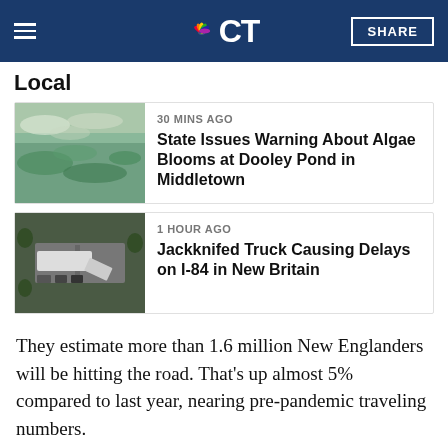NBC CT
Local
[Figure (photo): Algae blooms on water surface at Dooley Pond]
30 MINS AGO
State Issues Warning About Algae Blooms at Dooley Pond in Middletown
[Figure (photo): Aerial view of jackknifed truck on I-84 causing traffic delays]
1 HOUR AGO
Jackknifed Truck Causing Delays on I-84 in New Britain
They estimate more than 1.6 million New Englanders will be hitting the road. That's up almost 5% compared to last year, nearing pre-pandemic traveling numbers.
“I don’t think it’s unexpected. What’s unexpected is the price they’ll have to fill up at, and that doesn’t seem at this time discouraging people from making these trips,” said Chris